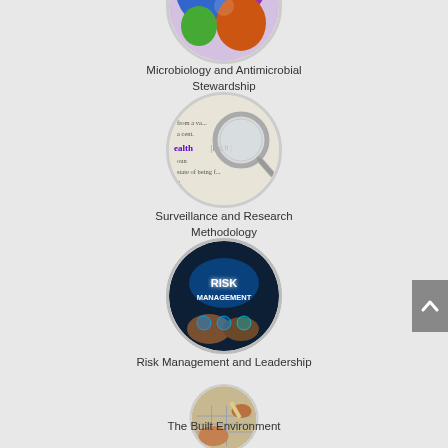[Figure (illustration): Circular image showing microbiology-related colorful microscopic organisms/cells]
Microbiology and Antimicrobial Stewardship
[Figure (illustration): Circular image showing a magnifying glass over a dictionary definition of the word 'health']
Surveillance and Research Methodology
[Figure (illustration): Circular image showing a digital risk management interface with glowing text 'RISK MANAGEMENT' and hands in background]
Risk Management and Leadership
[Figure (illustration): Circular image showing hands working on architectural/engineering blueprints]
The Built Environment
[Figure (illustration): Partially visible circular image at page bottom with blue tones]